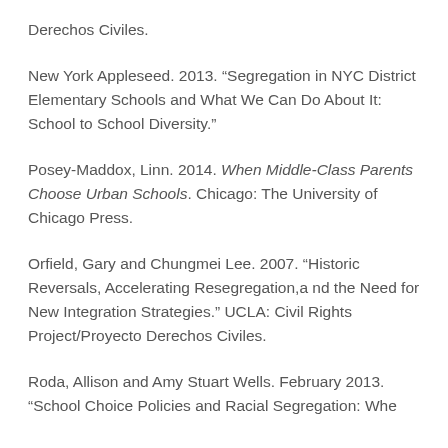Derechos Civiles.
New York Appleseed. 2013. “Segregation in NYC District Elementary Schools and What We Can Do About It: School to School Diversity.”
Posey-Maddox, Linn. 2014. When Middle-Class Parents Choose Urban Schools. Chicago: The University of Chicago Press.
Orfield, Gary and Chungmei Lee. 2007. “Historic Reversals, Accelerating Resegregation,a nd the Need for New Integration Strategies.” UCLA: Civil Rights Project/Proyecto Derechos Civiles.
Roda, Allison and Amy Stuart Wells. February 2013. “School Choice Policies and Racial Segregation: Whe…